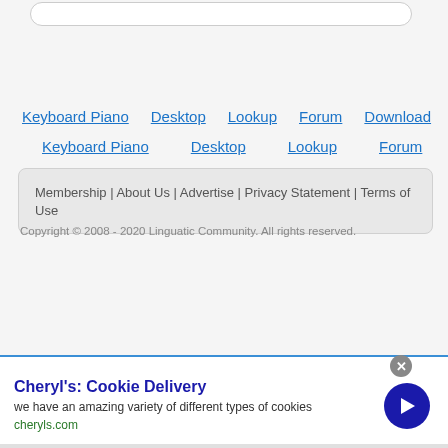[Figure (screenshot): Search bar at top of page, partially visible rounded rectangle]
Keyboard Piano   Desktop   Lookup   Forum   Download
Keyboard Piano   Desktop   Lookup   Forum   Dow
Membership | About Us | Advertise | Privacy Statement | Terms of Use
Copyright © 2008 - 2020 Linguatic Community. All rights reserved.
[Figure (screenshot): Advertisement banner for Cheryl's Cookie Delivery with close button, arrow icons, title, description text 'we have an amazing variety of different types of cookies', URL cheryls.com, and a blue circular CTA button with right arrow]